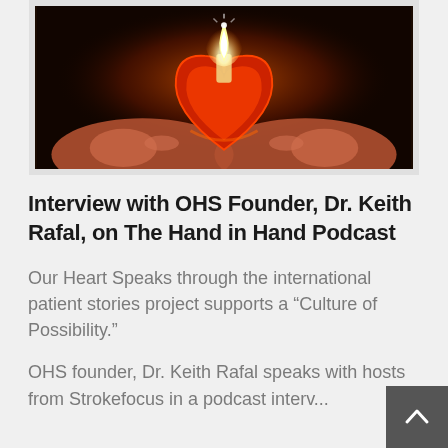[Figure (photo): A heart-shaped candle holder with a lit candle being held in two hands, glowing with warm orange and red light against a dark background.]
Interview with OHS Founder, Dr. Keith Rafal, on The Hand in Hand Podcast
Our Heart Speaks through the international patient stories project supports a “Culture of Possibility.”
OHS founder, Dr. Keith Rafal speaks with hosts from Strokefocus in a podcast interv...